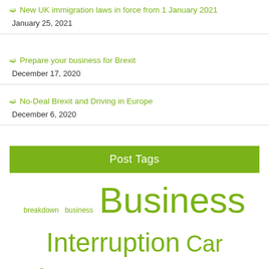New UK immigration laws in force from 1 January 2021
January 25, 2021
Prepare your business for Brexit
December 17, 2020
No-Deal Brexit and Driving in Europe
December 6, 2020
Post Tags
breakdown  business  Business  Interruption  Car Insurance  carriage of own goods  Commercial All Risks  companies act  Contract Works  Directors & Officers  directors and officers  employers  Employers